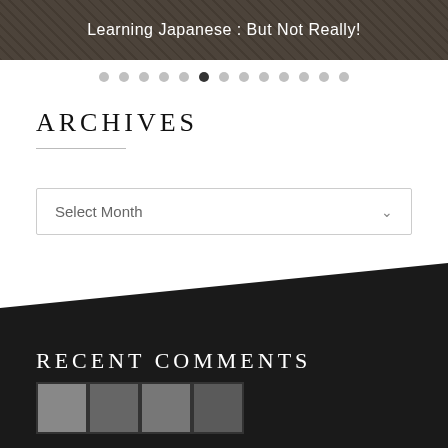[Figure (photo): Banner image showing Japanese study materials with text overlay 'Learning Japanese : But Not Really!']
Learning Japanese : But Not Really!
Pagination dots row with 13 dots, 6th dot active
ARCHIVES
Select Month
RECENT COMMENTS